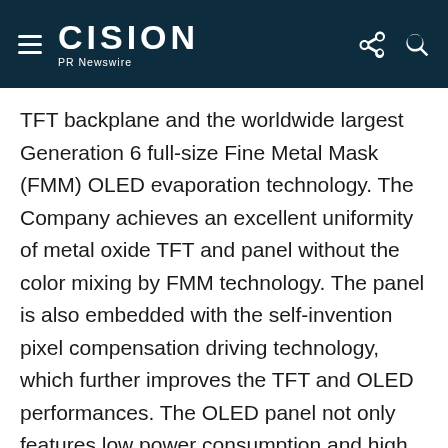CISION PR Newswire
TFT backplane and the worldwide largest Generation 6 full-size Fine Metal Mask (FMM) OLED evaporation technology. The Company achieves an excellent uniformity of metal oxide TFT and panel without the color mixing by FMM technology. The panel is also embedded with the self-invention pixel compensation driving technology, which further improves the TFT and OLED performances. The OLED panel not only features low power consumption and high picture quality, but is also equipped with high contrast, high brightness, fast response time, and free viewing angle, providing the best visual experiences to viewers.